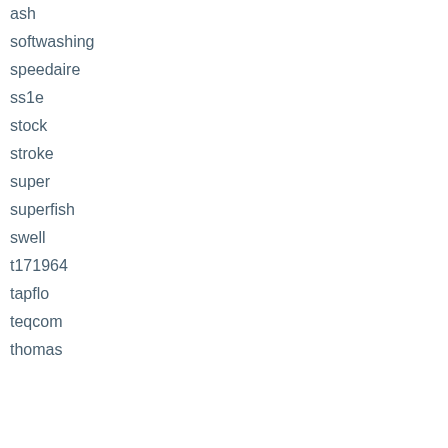ash
softwashing
speedaire
ss1e
stock
stroke
super
superfish
swell
t171964
tapflo
teqcom
thomas